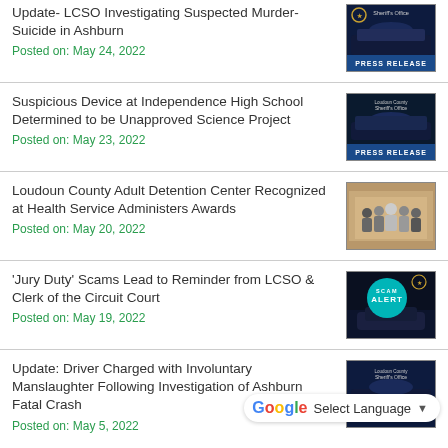Update- LCSO Investigating Suspected Murder-Suicide in Ashburn
Posted on: May 24, 2022
Suspicious Device at Independence High School Determined to be Unapproved Science Project
Posted on: May 23, 2022
Loudoun County Adult Detention Center Recognized at Health Service Administers Awards
Posted on: May 20, 2022
'Jury Duty' Scams Lead to Reminder from LCSO & Clerk of the Circuit Court
Posted on: May 19, 2022
Update: Driver Charged with Involuntary Manslaughter Following Investigation of Ashburn Fatal Crash
Posted on: May 5, 2022